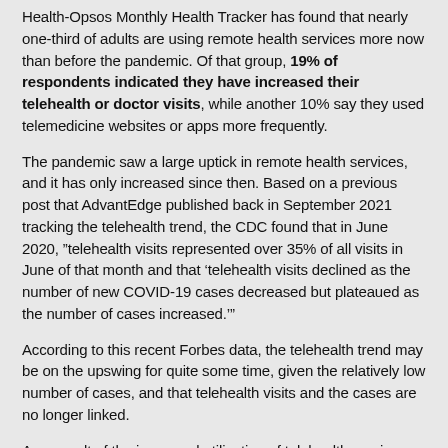Health-Opsos Monthly Health Tracker has found that nearly one-third of adults are using remote health services more now than before the pandemic. Of that group, 19% of respondents indicated they have increased their telehealth or doctor visits, while another 10% say they used telemedicine websites or apps more frequently.
The pandemic saw a large uptick in remote health services, and it has only increased since then. Based on a previous post that AdvantEdge published back in September 2021 tracking the telehealth trend, the CDC found that in June 2020, "telehealth visits represented over 35% of all visits in June of that month and that 'telehealth visits declined as the number of new COVID-19 cases decreased but plateaued as the number of cases increased.'"
According to this recent Forbes data, the telehealth trend may be on the upswing for quite some time, given the relatively low number of cases, and that telehealth visits and the cases are no longer linked.
As a result of the increased utilization of telehealth services, more health insurance providers are including these services as part of their care. Additionally, according to an American Psychiatric Association finding, in 2021 nearly six in 10 adults said they would use telehealth for mental health care – up 10% from 2020